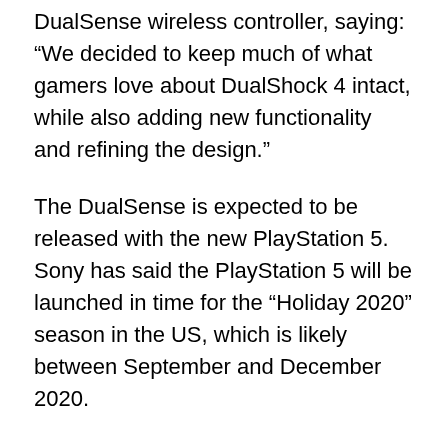DualSense wireless controller, saying: “We decided to keep much of what gamers love about DualShock 4 intact, while also adding new functionality and refining the design.”
The DualSense is expected to be released with the new PlayStation 5. Sony has said the PlayStation 5 will be launched in time for the “Holiday 2020” season in the US, which is likely between September and December 2020.
Some of the new features include haptic feedback, which adds a range of new sensations during gameplay. The company gave the example of “feeling the grittiness of driving a car through mud” as an example.
In addition, incorporated adaptive triggers have been